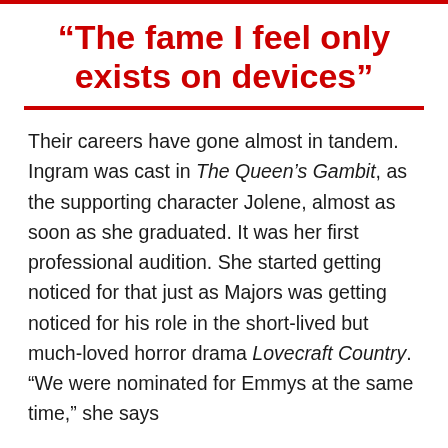“The fame I feel only exists on devices”
Their careers have gone almost in tandem. Ingram was cast in The Queen’s Gambit, as the supporting character Jolene, almost as soon as she graduated. It was her first professional audition. She started getting noticed for that just as Majors was getting noticed for his role in the short-lived but much-loved horror drama Lovecraft Country. “We were nominated for Emmys at the same time,” she says